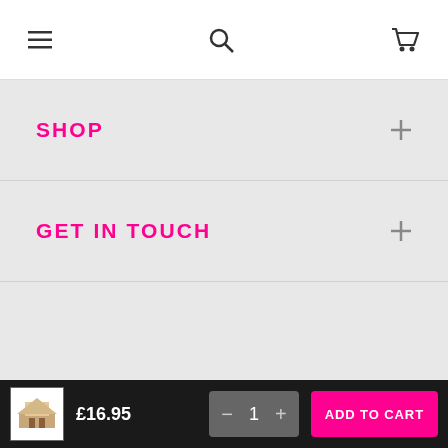Navigation bar with hamburger menu, search, and cart icons
SHOP
GET IN TOUCH
Follow @Wraptious
[Figure (other): Social media icons: Facebook, Instagram, YouTube — all in pink circle outlines]
£16.95  [product thumbnail]  — 1 +  ADD TO CART